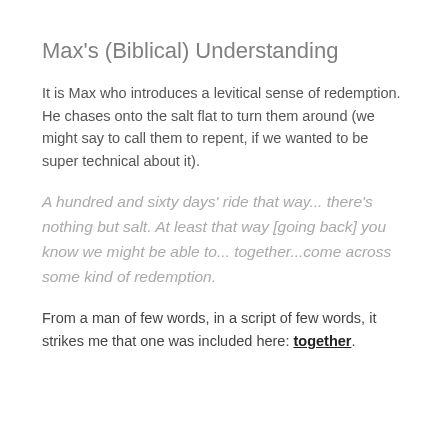Max's (Biblical) Understanding
It is Max who introduces a levitical sense of redemption. He chases onto the salt flat to turn them around (we might say to call them to repent, if we wanted to be super technical about it).
A hundred and sixty days' ride that way... there's nothing but salt. At least that way [going back] you know we might be able to... together...come across some kind of redemption.
From a man of few words, in a script of few words, it strikes me that one was included here: together.